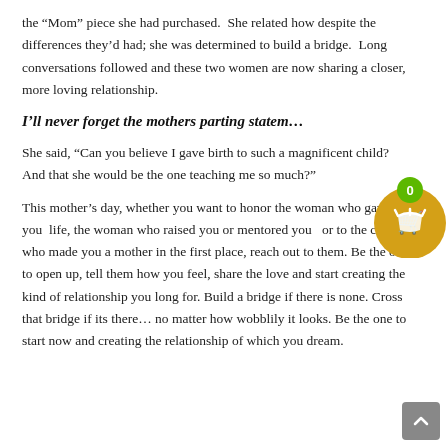the “Mom” piece she had purchased.  She related how despite the differences they’d had; she was determined to build a bridge.  Long conversations followed and these two women are now sharing a closer, more loving relationship.
I’ll never forget the mothers parting statem…
She said, “Can you believe I gave birth to such a magnificent child? And that she would be the one teaching me so much?”
This mother’s day, whether you want to honor the woman who gave you life, the woman who raised you or mentored you  or to the child who made you a mother in the first place, reach out to them. Be the one to open up, tell them how you feel, share the love and start creating the kind of relationship you long for. Build a bridge if there is none. Cross that bridge if its there… no matter how wobblily it looks. Be the one to start now and creating the relationship of which you dream.